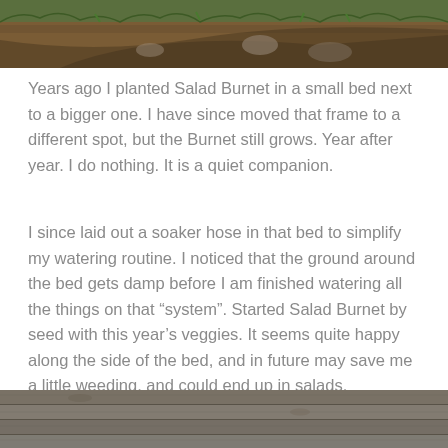[Figure (photo): Close-up photo of garden soil with green plant shoots emerging, brown earth and some grass visible in the background.]
Years ago I planted Salad Burnet in a small bed next to a bigger one. I have since moved that frame to a different spot, but the Burnet still grows. Year after year. I do nothing. It is a quiet companion.
I since laid out a soaker hose in that bed to simplify my watering routine. I noticed that the ground around the bed gets damp before I am finished watering all the things on that “system”. Started Salad Burnet by seed with this year’s veggies. It seems quite happy along the side of the bed, and in future may save me a little weeding, and could end up in salads.
[Figure (photo): Photo of wooden garden bed or fence boards, weathered grey wood visible at bottom of the image.]